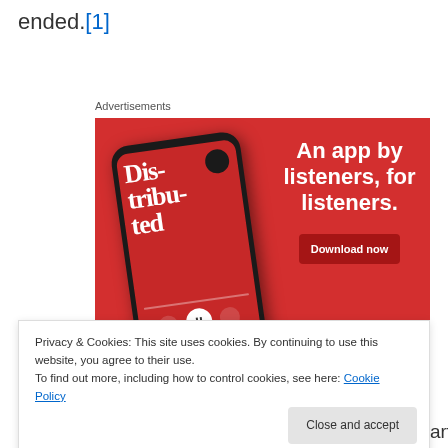ended.[1]
Advertisements
[Figure (illustration): Advertisement banner with red background showing a smartphone with a podcast app displaying 'Distributed' episode, with text 'An app by listeners, for listeners.' and a 'Download now' button]
Privacy & Cookies: This site uses cookies. By continuing to use this website, you agree to their use.
To find out more, including how to control cookies, see here: Cookie Policy
way as I did when they announced the Andrew Garfield